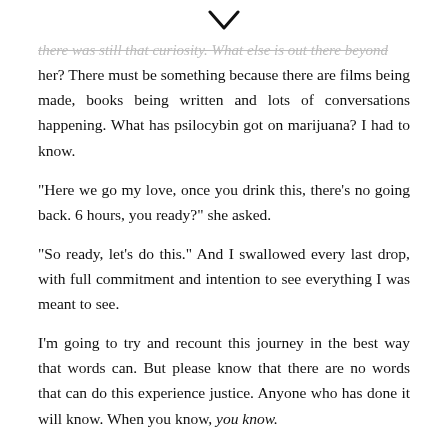[Figure (other): Downward-pointing chevron/arrow icon centered at top of page]
...there was still that curiosity. What else is out there beyond her? There must be something because there are films being made, books being written and lots of conversations happening. What has psilocybin got on marijuana? I had to know.
“Here we go my love, once you drink this, there’s no going back. 6 hours, you ready?” she asked.
“So ready, let’s do this.” And I swallowed every last drop, with full commitment and intention to see everything I was meant to see.
I’m going to try and recount this journey in the best way that words can. But please know that there are no words that can do this experience justice. Anyone who has done it will know. When you know, you know.
We had moved my mattress to the lounge, in front of the fire...